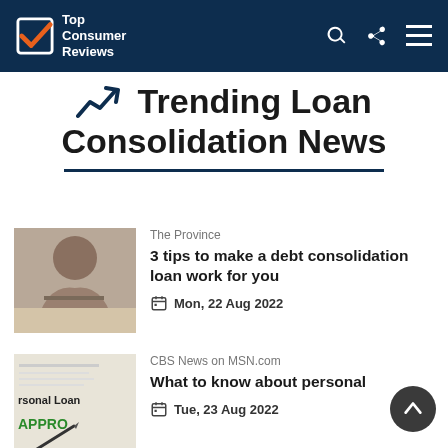Top Consumer Reviews
Trending Loan Consolidation News
[Figure (photo): Woman with head in hands, stressed over financial papers at a desk]
The Province
3 tips to make a debt consolidation loan work for you
Mon, 22 Aug 2022
[Figure (photo): Personal loan application form with APPROVED stamp in green and a pen]
CBS News on MSN.com
What to know about personal
Tue, 23 Aug 2022